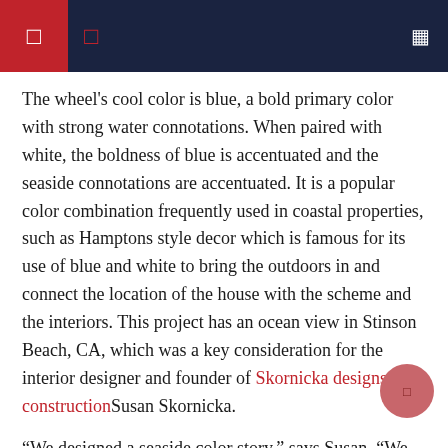The wheel's cool color is blue, a bold primary color with strong water connotations. When paired with white, the boldness of blue is accentuated and the seaside connotations are accentuated. It is a popular color combination frequently used in coastal properties, such as Hamptons style decor which is famous for its use of blue and white to bring the outdoors in and connect the location of the house with the scheme and the interiors. This project has an ocean view in Stinson Beach, CA, which was a key consideration for the interior designer and founder of Skornicka designs and constructionSusan Skornicka.
“We designed a seaside color story,” says Susan. “We incorporated different shades of blue into the textiles and artwork, creating a harmonious connection with the ocean.
“We chose light textured walls and soft sand colored